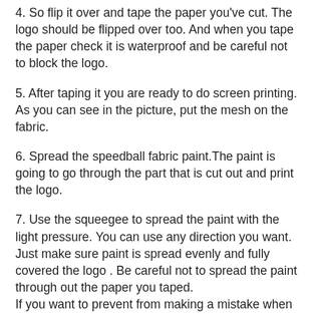4. So flip it over and tape the paper you've cut. The logo should be flipped over too. And when you tape the paper check it is waterproof and be careful not to block the logo.
5. After taping it you are ready to do screen printing. As you can see in the picture, put the mesh on the fabric.
6. Spread the speedball fabric paint.The paint is going to go through the part that is cut out and print the logo.
7. Use the squeegee to spread the paint with the light pressure. You can use any direction you want. Just make sure paint is spread evenly and fully covered the logo . Be careful not to spread the paint through out the paper you taped.
If you want to prevent from making a mistake when you spread the paint there are two ways :
Not to use too much paint.
Use more papers to cover all of the part of the mesh you